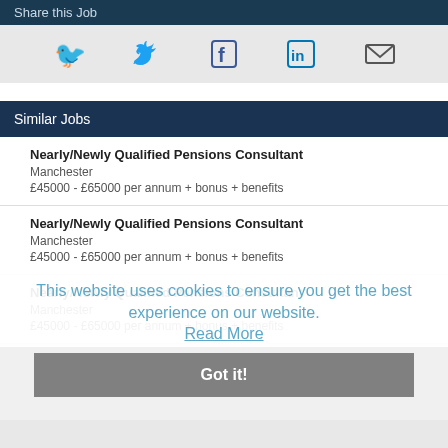Share this Job
[Figure (infographic): Social sharing icons: Twitter (bird), Facebook (f), LinkedIn (in), Email (envelope)]
Similar Jobs
Nearly/Newly Qualified Pensions Consultant
Manchester
£45000 - £65000 per annum + bonus + benefits
Nearly/Newly Qualified Pensions Consultant
Manchester
£45000 - £65000 per annum + bonus + benefits
Nearly/Newly Qualified Pensions Consultant
Manchester
£45000 - £65000 per annum + bonus + benefits
This website uses cookies to ensure you get the best experience on our website.
Read More
Got it!